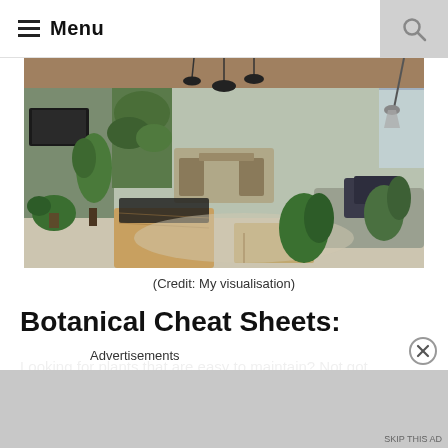Menu
[Figure (photo): Interior living room with plants, wooden furniture, sofa with dark cushions, pendant lights, and green wall plants]
(Credit: My visualisation)
Botanical Cheat Sheets:
Looking for plants that are easy to maintain? Not got a lot of
Advertisements